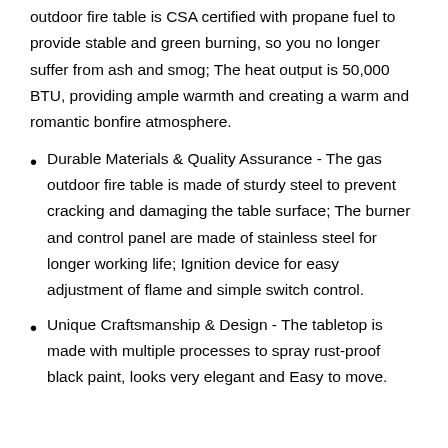outdoor fire table is CSA certified with propane fuel to provide stable and green burning, so you no longer suffer from ash and smog; The heat output is 50,000 BTU, providing ample warmth and creating a warm and romantic bonfire atmosphere.
Durable Materials & Quality Assurance - The gas outdoor fire table is made of sturdy steel to prevent cracking and damaging the table surface; The burner and control panel are made of stainless steel for longer working life; Ignition device for easy adjustment of flame and simple switch control.
Unique Craftsmanship & Design - The tabletop is made with multiple processes to spray rust-proof black paint, looks very elegant and Easy to move.